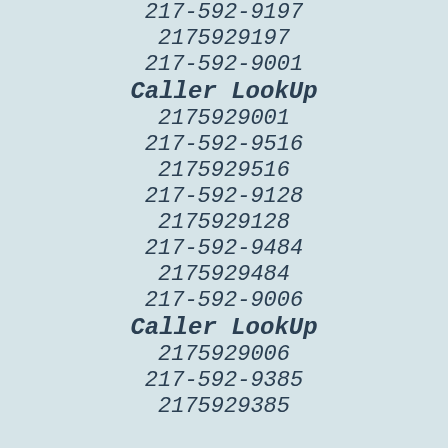217-592-9197
2175929197
217-592-9001
Caller LookUp
2175929001
217-592-9516
2175929516
217-592-9128
2175929128
217-592-9484
2175929484
217-592-9006
Caller LookUp
2175929006
217-592-9385
2175929385